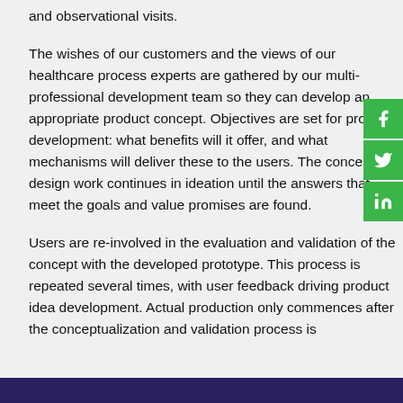and observational visits.
The wishes of our customers and the views of our healthcare process experts are gathered by our multi-professional development team so they can develop an appropriate product concept. Objectives are set for product development: what benefits will it offer, and what mechanisms will deliver these to the users. The concept design work continues in ideation until the answers that meet the goals and value promises are found.
Users are re-involved in the evaluation and validation of the concept with the developed prototype. This process is repeated several times, with user feedback driving product idea development. Actual production only commences after the conceptualization and validation process is